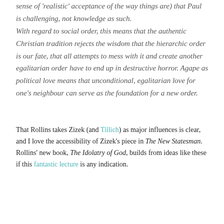sense of 'realistic' acceptance of the way things are) that Paul is challenging, not knowledge as such.
With regard to social order, this means that the authentic Christian tradition rejects the wisdom that the hierarchic order is our fate, that all attempts to mess with it and create another egalitarian order have to end up in destructive horror. Agape as political love means that unconditional, egalitarian love for one's neighbour can serve as the foundation for a new order.
That Rollins takes Zizek (and Tillich) as major influences is clear, and I love the accessibility of Zizek's piece in The New Statesman. Rollins' new book, The Idolatry of God, builds from ideas like these if this fantastic lecture is any indication.